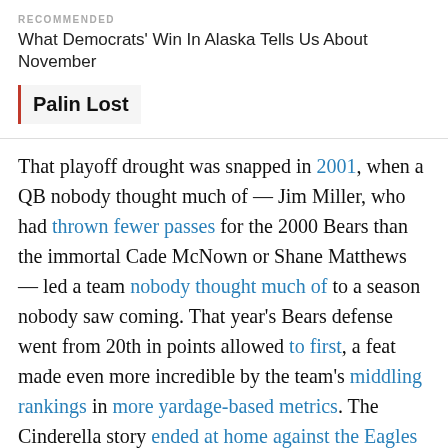RECOMMENDED
What Democrats’ Win In Alaska Tells Us About November
Palin Lost
That playoff drought was snapped in 2001, when a QB nobody thought much of — Jim Miller, who had thrown fewer passes for the 2000 Bears than the immortal Cade McNown or Shane Matthews — led a team nobody thought much of to a season nobody saw coming. That year’s Bears defense went from 20th in points allowed to first, a feat made even more incredible by the team’s middling rankings in more yardage-based metrics. The Cinderella story ended at home against the Eagles in the playoffs, but at least some observers saw another playoff trip in the cards for 2002.